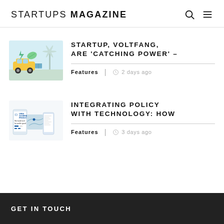STARTUPS MAGAZINE
[Figure (illustration): Electric vehicle and renewable energy illustration with wind turbine, solar panels, and yellow EV car]
STARTUP, VOLTFANG, ARE 'CATCHING POWER' –
Features | 2 days ago
[Figure (screenshot): Open Government Products website screenshot showing mobile app interface with 'We build tech for public good' tagline]
INTEGRATING POLICY WITH TECHNOLOGY: HOW
Features | 3 days ago
GET IN TOUCH